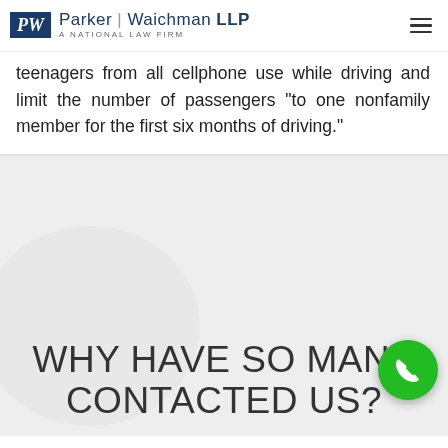Parker | Waichman LLP — A National Law Firm
teenagers from all cellphone use while driving and limit the number of passengers “to one nonfamily member for the first six months of driving.”
WHY HAVE SO MANY CONTACTED US?